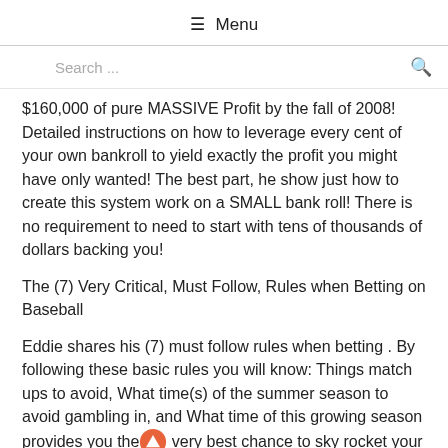☰ Menu
Search ...
$160,000 of pure MASSIVE Profit by the fall of 2008! Detailed instructions on how to leverage every cent of your own bankroll to yield exactly the profit you might have only wanted! The best part, he show just how to create this system work on a SMALL bank roll! There is no requirement to need to start with tens of thousands of dollars backing you!
The (7) Very Critical, Must Follow, Rules when Betting on Baseball
Eddie shares his (7) must follow rules when betting . By following these basic rules you will know: Things match ups to avoid, What time(s) of the summer season to avoid gambling in, and What time of this growing season provides you the very best chance to sky rocket your bank roll (suggestion at this time!)